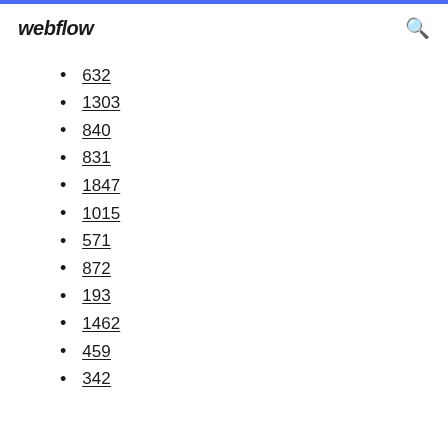webflow
632
1303
840
831
1847
1015
571
872
193
1462
459
342